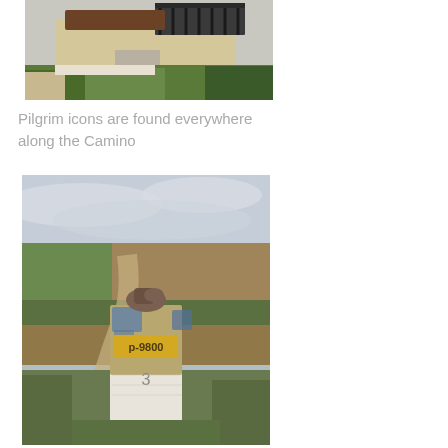[Figure (photo): Photo of a stone structure with iron railing, green grass and vegetation growing around it, with a gravel path. Pilgrim waymarker or monument along the Camino de Santiago.]
Pilgrim icons are found everywhere along the Camino
[Figure (photo): Photo of a weathered stone waymarker/milestone on the Camino de Santiago. The marker has a bronze pilgrim boot on top, blue and yellow painted surface with text reading 'p-9800' and the number '3' below. Agricultural fields and a dirt path visible in the background under a cloudy sky.]